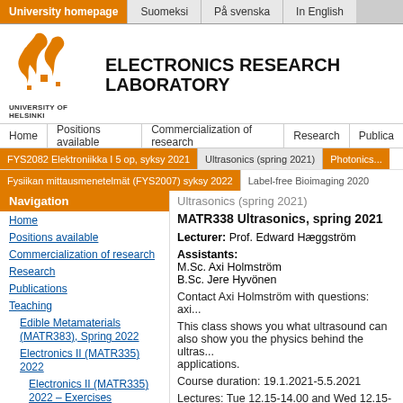University homepage | Suomeksi | På svenska | In English
[Figure (logo): University of Helsinki flame logo in orange]
ELECTRONICS RESEARCH LABORATORY
UNIVERSITY OF HELSINKI
Home | Positions available | Commercialization of research | Research | Publications
FYS2082 Elektroniikka I 5 op, syksy 2021 | Ultrasonics (spring 2021) | Photonics...
Fysiikan mittausmenetelmät (FYS2007) syksy 2022 | Label-free Bioimaging 2020
Navigation
Home
Positions available
Commercialization of research
Research
Publications
Teaching
Edible Metamaterials (MATR383), Spring 2022
Electronics II (MATR335) 2022
Electronics II (MATR335) 2022 – Exercises
Electronics II (MATR335) 2022 – Final project instructions
Ultrasonics (spring 2021)
MATR338 Ultrasonics, spring 2021
Lecturer: Prof. Edward Hæggström
Assistants:
M.Sc. Axi Holmström
B.Sc. Jere Hyvönen
Contact Axi Holmström with questions: axi...
This class shows you what ultrasound can also show you the physics behind the ultras... applications.
Course duration: 19.1.2021-5.5.2021
Lectures: Tue 12.15-14.00 and Wed 12.15-
permits, otherwise Zoom (Zoom link...